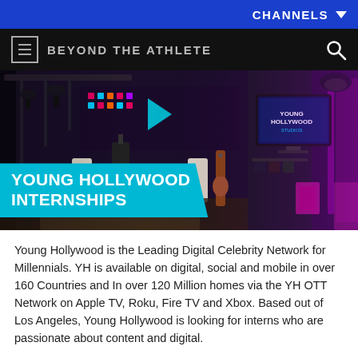CHANNELS
BEYOND THE ATHLETE
[Figure (photo): Interior of a TV/media studio with colorful lighting, cameras, sofa seating area, guitar, and mounted TV screens. Overlay text reads YOUNG HOLLYWOOD INTERNSHIPS.]
Young Hollywood is the Leading Digital Celebrity Network for Millennials. YH is available on digital, social and mobile in over 160 Countries and In over 120 Million homes via the YH OTT Network on Apple TV, Roku, Fire TV and Xbox. Based out of Los Angeles, Young Hollywood is looking for interns who are passionate about content and digital.
Internships are available each semester (fall, spring, and summer). All internships are unpaid and available only to students enrolled in an accredited academic program at the time